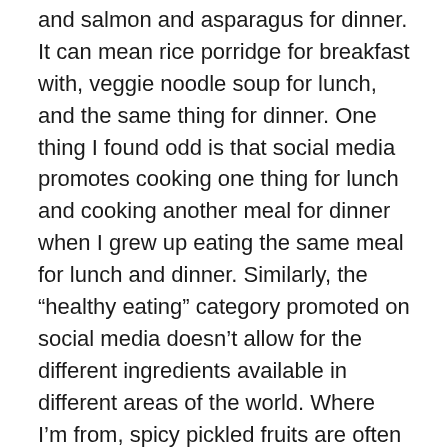and salmon and asparagus for dinner. It can mean rice porridge for breakfast with, veggie noodle soup for lunch, and the same thing for dinner. One thing I found odd is that social media promotes cooking one thing for lunch and cooking another meal for dinner when I grew up eating the same meal for lunch and dinner. Similarly, the “healthy eating” category promoted on social media doesn’t allow for the different ingredients available in different areas of the world. Where I’m from, spicy pickled fruits are often added to our meals, and people use different ingredients such as cassava, breadfruit, a variety of grains, and a ton of chilli.
To put it in a nutshell, don’t let the portrayal of “healthy eating” online restrict your way of eating or your local cuisine. Instead, you can find ways to make your local dishes balanced with whole foods and substitutions. For